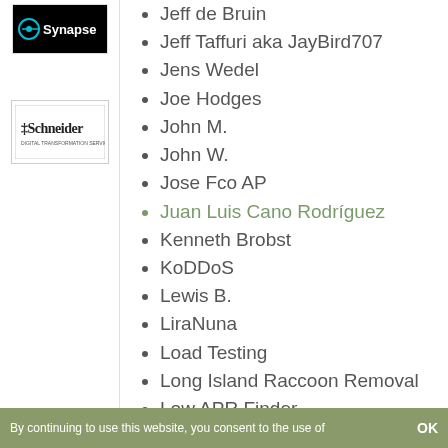[Figure (logo): Synapse logo — black background with teal circular icon and white text]
[Figure (logo): Schneider logo — white background with bold serif text]
Jeff de Bruin
Jeff Taffuri aka JayBird707
Jens Wedel
Joe Hodges
John M.
John W.
Jose Fco AP
Juan Luis Cano Rodríguez
Kenneth Brobst
KoDDoS
Lewis B.
LiraNuna
Load Testing
Long Island Raccoon Removal
Low APR Finder
Maison du Jambon de Bayonne
Mark Fletcher
By continuing to use this website, you consent to the use of   OK